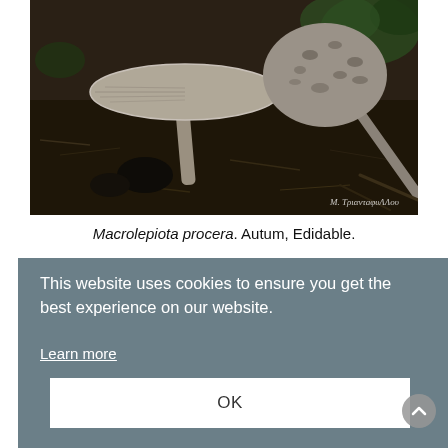[Figure (photo): Photograph of Macrolepiota procera mushrooms on forest floor with dark soil and leaf litter. Two mushrooms visible — one with flat spread cap showing gills underneath and one with rounded dome cap with scaly texture. Watermark text 'M. ΤριαντaφυΛΛου' in bottom right corner. Dark, earthy tones.]
Macrolepiota procera. Autum, Edidable.
This website uses cookies to ensure you get the best experience on our website.
Learn more
OK